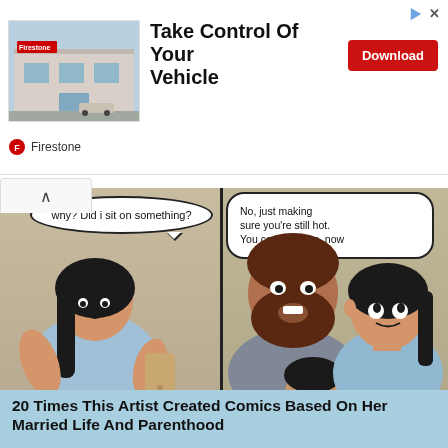[Figure (screenshot): Advertisement banner for Firestone with store building photo, headline 'Take Control Of Your Vehicle', red Download button, and Firestone logo/brand name]
[Figure (illustration): Two-panel comic strip. Left panel: woman sitting saying 'why? Did I sit on something?' Right panel: bearded man and woman, speech bubble says 'No, just making sure you're still hot. You can sit down, now']
20 Times This Artist Created Comics Based On Her Married Life And Parenthood